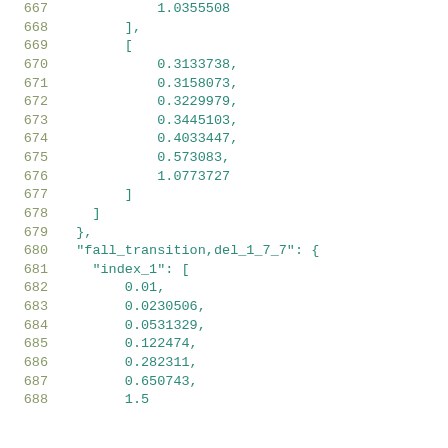Code listing lines 667-688, JSON data structure with numeric arrays and fall_transition,del_1_7_7 key
667    1.0355508
668    ],
669    [
670        0.3133738,
671        0.3158073,
672        0.3229979,
673        0.3445103,
674        0.4033447,
675        0.573083,
676        1.0773727
677    ]
678    ]
679    },
680    "fall_transition,del_1_7_7": {
681        "index_1": [
682            0.01,
683            0.0230506,
684            0.0531329,
685            0.122474,
686            0.282311,
687            0.650743,
688            1.5